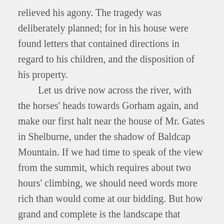relieved his agony. The tragedy was deliberately planned; for in his house were found letters that contained directions in regard to his children, and the disposition of his property. Let us drive now across the river, with the horses' heads towards Gorham again, and make our first halt near the house of Mr. Gates in Shelburne, under the shadow of Baldcap Mountain. If we had time to speak of the view from the summit, which requires about two hours' climbing, we should need words more rich than would come at our bidding. But how grand and complete is the landscape that stretches before us as we look up the river seven or eight miles to the base of Madison and to the bulk of Washington, whose majestic dome rises over two curving walls of rock, that are set beneath it like wings! Seen in the afternoon light, the Androscoggin and its meadows look more lovely than on any portion of the road between Bethel and Gorham, and more fascinating than any piece of river scenery it has ever been our fortune to look upon in the mountain region. The rock and cascade pictures in the forests of Baldcap well reward the rambles of an hour or two. Boarders for the summer,